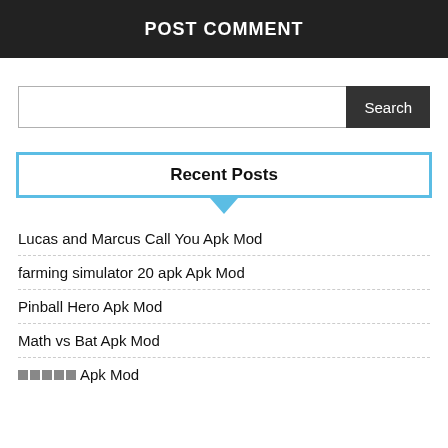POST COMMENT
Search
Recent Posts
Lucas and Marcus Call You Apk Mod
farming simulator 20 apk Apk Mod
Pinball Hero Apk Mod
Math vs Bat Apk Mod
Apk Mod